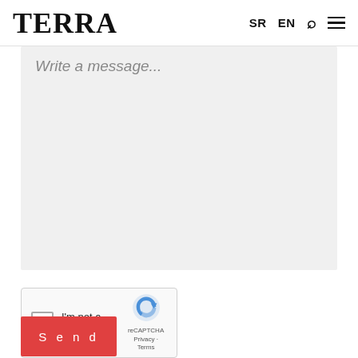TERRA  SR  EN
Write a message...
[Figure (other): reCAPTCHA widget with checkbox labeled 'I'm not a robot', reCAPTCHA logo, Privacy and Terms links]
Send